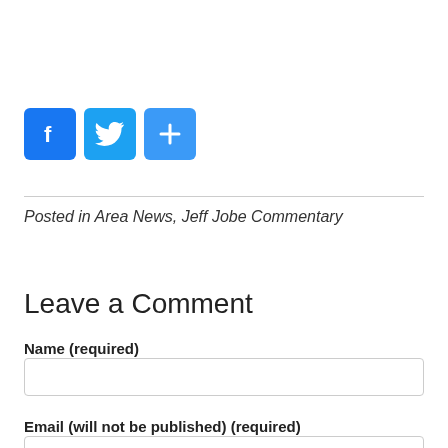[Figure (infographic): Three social sharing buttons: Facebook (blue with 'f' icon), Twitter (light blue with bird icon), and a share button (blue with '+' icon)]
Posted in Area News, Jeff Jobe Commentary
Leave a Comment
Name (required)
Email (will not be published) (required)